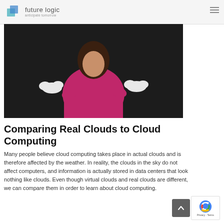future logic — anticipate tomorrow
[Figure (photo): Woman in magenta/pink dress with arms crossed, holding miniature clouds in each hand, against a dark background]
Comparing Real Clouds to Cloud Computing
Many people believe cloud computing takes place in actual clouds and is therefore affected by the weather. In reality, the clouds in the sky do not affect computers, and information is actually stored in data centers that look nothing like clouds. Even though virtual clouds and real clouds are different, we can compare them in order to learn about cloud computing.